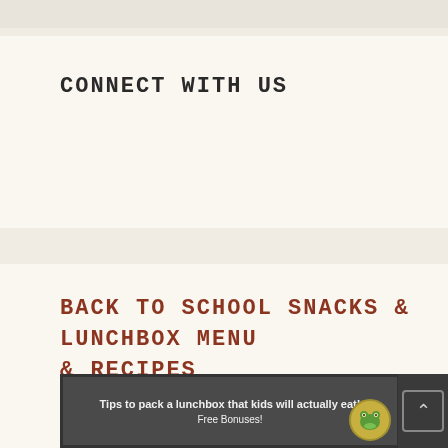CONNECT WITH US
BACK TO SCHOOL SNACKS & LUNCHBOX MENU & RECIPES
[Figure (photo): Promotional image for lunchbox tips on a dark chalkboard background. Text reads 'Tips to pack a lunchbox that kids will actually eat!' and 'Free Bonuses!' with a frog logo circle on the right.]